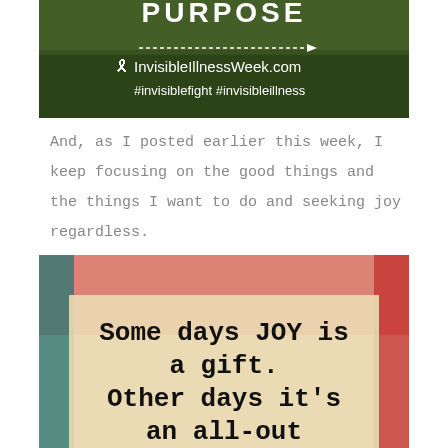[Figure (illustration): Invisible Illness Week banner with green field background, awareness ribbon, text 'InvisibleIllnessWeek.com #invisiblefight #invisibleillness' and partial text 'PURPOSE' at top]
And, as I posted earlier this week, I keep focusing on the good things and the things I want to do and seeking joy regardless.
[Figure (illustration): Colorful artistic image with red and teal borders, cream center, typewriter font text reading: 'Some days JOY is a gift. Other days it's an all-out']